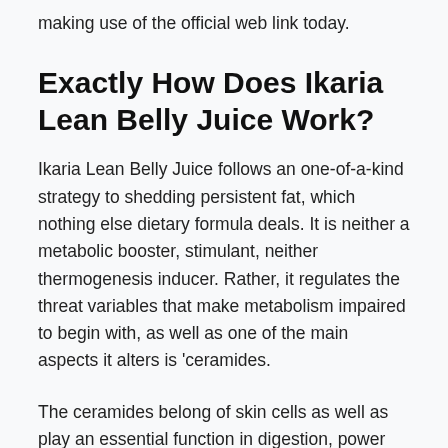making use of the official web link today.
Exactly How Does Ikaria Lean Belly Juice Work?
Ikaria Lean Belly Juice follows an one-of-a-kind strategy to shedding persistent fat, which nothing else dietary formula deals. It is neither a metabolic booster, stimulant, neither thermogenesis inducer. Rather, it regulates the threat variables that make metabolism impaired to begin with, as well as one of the main aspects it alters is ‘ceramides.
The ceramides belong of skin cells as well as play an essential function in digestion, power production, and also fat build-up. So obesity can